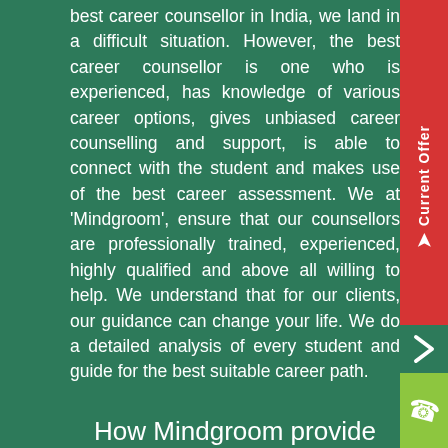best career counsellor in India, we land in a difficult situation. However, the best career counsellor is one who is experienced, has knowledge of various career options, gives unbiased career counselling and support, is able to connect with the student and makes use of the best career assessment. We at 'Mindgroom', ensure that our counsellors are professionally trained, experienced, highly qualified and above all willing to help. We understand that for our clients, our guidance can change your life. We do a detailed analysis of every student and guide for the best suitable career path.
How Mindgroom provide best Career Counselling in India?
Mindgroom has a team of individuals from top-notch colleges of the country. They are young, energetic, willing to help and have collective experience of more than 1 Lac Career Assessments and Counselling.